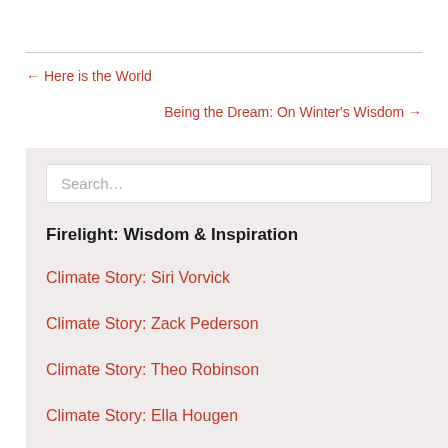← Here is the World
Being the Dream: On Winter's Wisdom →
Search...
Firelight: Wisdom & Inspiration
Climate Story: Siri Vorvick
Climate Story: Zack Pederson
Climate Story: Theo Robinson
Climate Story: Ella Hougen